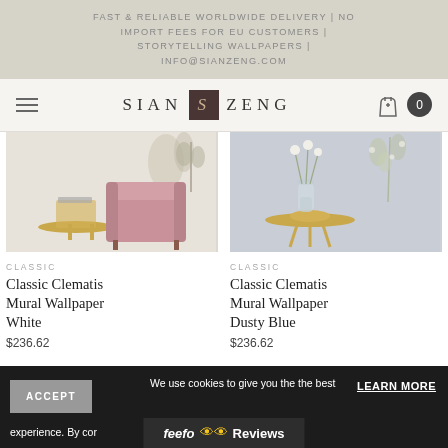FAST & RELIABLE WORLDWIDE DELIVERY | NO IMPORT FEES FOR EU CUSTOMERS | STORYTELLING WALLPAPERS | INFO@SIANZENG.COM
[Figure (logo): Sian Zeng brand navigation bar with hamburger menu, logo, shopping bag icon and cart count 0]
[Figure (photo): Room scene with pink velvet chair and gold side table against white/cream wall with botanical wallpaper]
CLASSIC
Classic Clematis Mural Wallpaper White
$236.62
[Figure (photo): Room scene with gold side table and glass vase with white flowers against dusty blue wall with botanical wallpaper]
CLASSIC
Classic Clematis Mural Wallpaper Dusty Blue
$236.62
ACCEPT | We use cookies to give you the the best experience. By con... | feefo Reviews | LEARN MORE